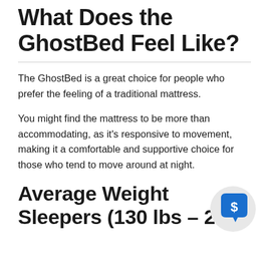What Does the GhostBed Feel Like?
The GhostBed is a great choice for people who prefer the feeling of a traditional mattress.
You might find the mattress to be more than accommodating, as it's responsive to movement, making it a comfortable and supportive choice for those who tend to move around at night.
Average Weight Sleepers (130 lbs – 230
[Figure (illustration): A circular chat bubble icon with a dollar sign inside, light gray background circle with a blue speech bubble containing a white dollar sign symbol.]